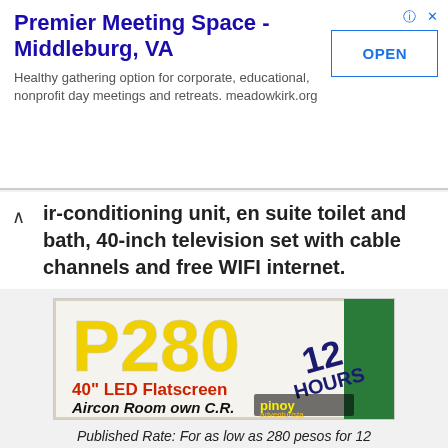[Figure (screenshot): Ad banner for Premier Meeting Space - Middleburg, VA with OPEN button and description text about healthy gathering options.]
air-conditioning unit, en suite toilet and bath, 40-inch television set with cable channels and free WIFI internet.
[Figure (photo): Photo of a sign showing P280 12 Hours, 40 inch LED Flatscreen, Aircon Room own C.R. with pinoy adventurista watermark.]
Published Rate: For as low as 280 pesos for 12